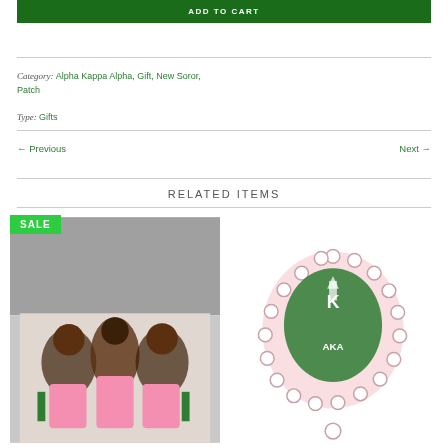ADD TO CART
Category: Alpha Kappa Alpha, Gift, New Soror, Patch
Type: Gifts
← Previous    Next →
RELATED ITEMS
[Figure (photo): SALE badge with photo of three young women in pink and green outfits holding green items]
[Figure (illustration): Alpha Kappa Alpha sorority crest/patch illustration with green and pink colors, showing ivy leaf border with Greek letters]